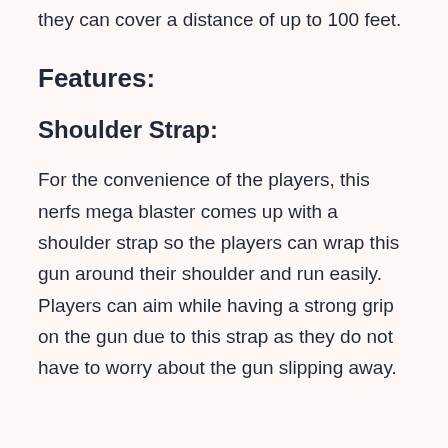they can cover a distance of up to 100 feet.
Features:
Shoulder Strap:
For the convenience of the players, this nerfs mega blaster comes up with a shoulder strap so the players can wrap this gun around their shoulder and run easily. Players can aim while having a strong grip on the gun due to this strap as they do not have to worry about the gun slipping away.